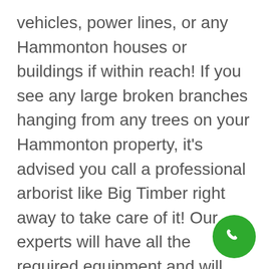vehicles, power lines, or any Hammonton houses or buildings if within reach! If you see any large broken branches hanging from any trees on your Hammonton property, it's advised you call a professional arborist like Big Timber right away to take care of it! Our experts will have all the required equipment and will take all the necessary precautions to safely handle the job.
At Big Timber Tree Service LLC, we aim to be the first choice for all Hammonton residents and property owners when it comes to quality tree trimming services.
[Figure (other): Green circular phone/call button icon in the bottom-right corner]